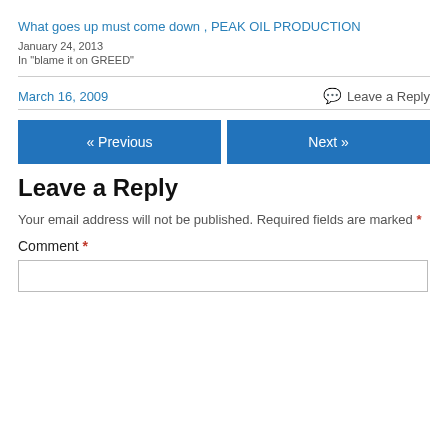What goes up must come down , PEAK OIL PRODUCTION
January 24, 2013
In "blame it on GREED"
March 16, 2009
Leave a Reply
« Previous
Next »
Leave a Reply
Your email address will not be published. Required fields are marked *
Comment *